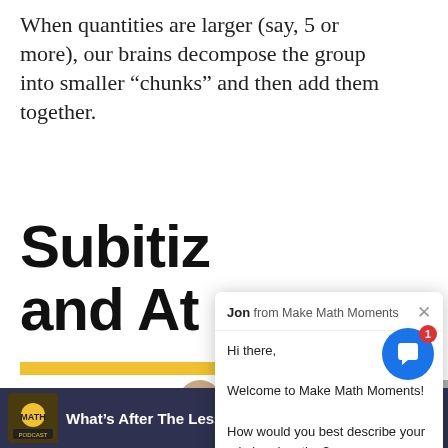When quantities are larger (say, 5 or more), our brains decompose the group into smaller “chunks” and then add them together.
Subitiz... and At...
[Figure (screenshot): Chat popup overlay from 'Jon from Make Math Moments' with greeting and question]
Jon from Make Math Moments
Hi there,
Welcome to Make Math Moments!
How would you best describe your role in education?
[Figure (screenshot): Hand showing two fingers (peace sign / finger counting gesture), partially visible podcast thumbnail area with label FING]
What’s After The Lesson?